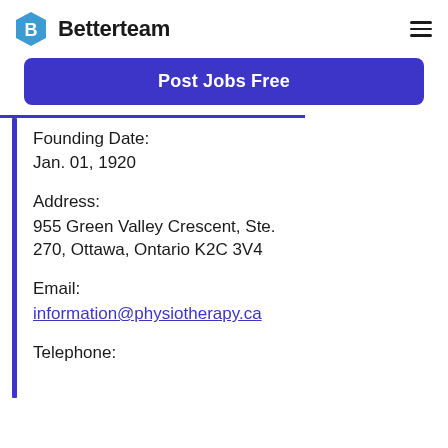Betterteam
Post Jobs Free
Founding Date:
Jan. 01, 1920
Address:
955 Green Valley Crescent, Ste. 270, Ottawa, Ontario K2C 3V4
Email:
information@physiotherapy.ca
Telephone: